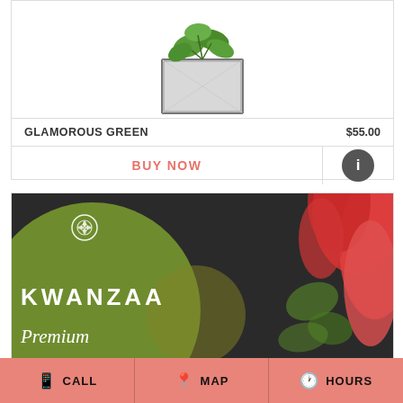[Figure (photo): Glamorous Green plant arrangement in a metal/glass cube container, partially visible at top of page]
GLAMOROUS GREEN    $55.00
BUY NOW
[Figure (photo): Kwanzaa Premium flower arrangement promotional image with dark background, green circle with rose logo, KWANZAA text and Premium script, red flowers on the right]
CALL   MAP   HOURS